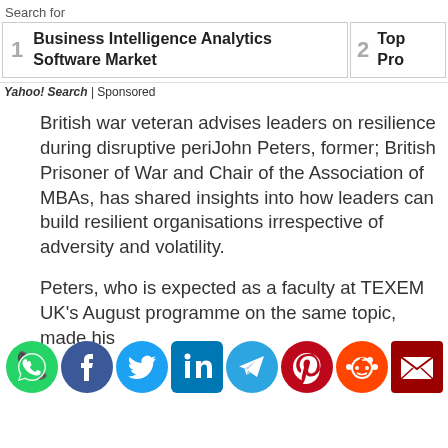Search for
[Figure (screenshot): Search result item 1: Business Intelligence Analytics Software Market, and partial item 2: Top Pro...]
Yahoo! Search | Sponsored
British war veteran advises leaders on resilience during disruptive periJohn Peters, former; British Prisoner of War and Chair of the Association of MBAs, has shared insights into how leaders can build resilient organisations irrespective of adversity and volatility.
Peters, who is expected as a faculty at TEXEM UK's August programme on the same topic, made his
[Figure (infographic): Social media share icons: WhatsApp (green), Facebook (blue), Twitter (light blue), LinkedIn (dark blue), Telegram (blue), Pinterest (red), Reddit (orange-red), Email (dark red)]